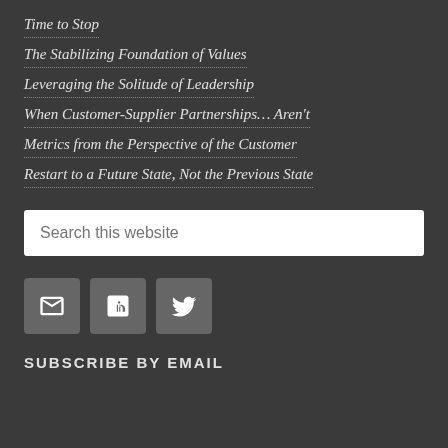Time to Stop
The Stabilizing Foundation of Values
Leveraging the Solitude of Leadership
When Customer-Supplier Partnerships… Aren't
Metrics from the Perspective of the Customer
Restart to a Future State, Not the Previous State
[Figure (other): Search input box with placeholder text 'Search this website']
[Figure (other): Social media icon buttons: Email (envelope icon), LinkedIn (in icon), Twitter (bird icon)]
SUBSCRIBE BY EMAIL